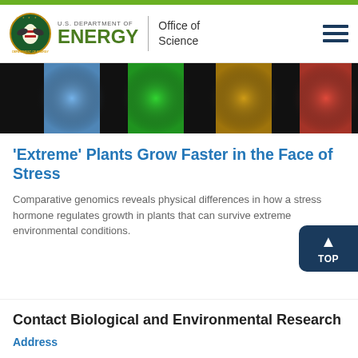[Figure (logo): U.S. Department of Energy, Office of Science logo with seal and hamburger menu icon]
[Figure (photo): Colorful spectrum/light diffraction image showing bands of black, blue, green, gold, red colors]
‘Extreme’ Plants Grow Faster in the Face of Stress
Comparative genomics reveals physical differences in how a stress hormone regulates growth in plants that can survive extreme environmental conditions.
Contact Biological and Environmental Research
Address